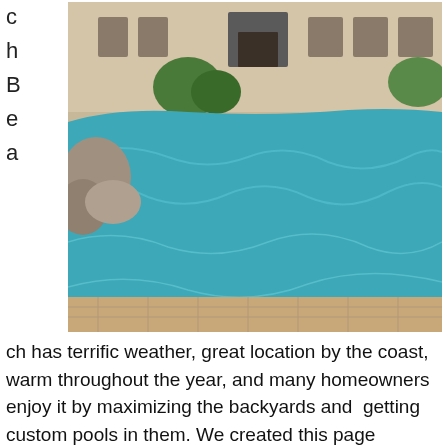[Figure (photo): A luxury swimming pool with blue water, natural stone boulders on the left side, and a large beige stucco home in the background. Decorative pavers surround the pool. The letters 'c h B e a' appear vertically on the left side of the page, partially cut off.]
ch has terrific weather, great location by the coast, warm throughout the year, and many homeowners enjoy it by maximizing the backyards and getting custom pools in them. We created this page specifically to showcase Monarch Beach private pool homes currently listed for sale. Note that, there's many neighborhoods in Monarch Beach who's home owners association ( HOA ) includes the use and maintenance of the community private pool(s). This page is intended only for those homes that have a